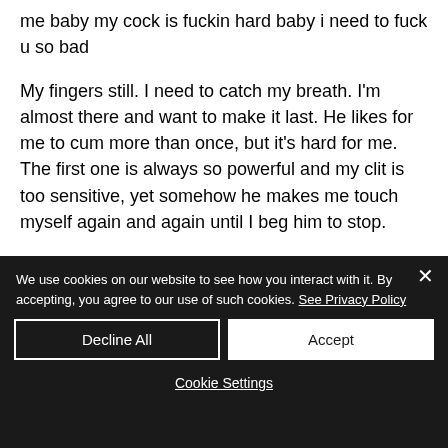me baby my cock is fuckin hard baby i need to fuck u so bad
My fingers still. I need to catch my breath. I'm almost there and want to make it last. He likes for me to cum more than once, but it's hard for me. The first one is always so powerful and my clit is too sensitive, yet somehow he makes me touch myself again and again until I beg him to stop.
We use cookies on our website to see how you interact with it. By accepting, you agree to our use of such cookies. See Privacy Policy
Decline All
Accept
Cookie Settings